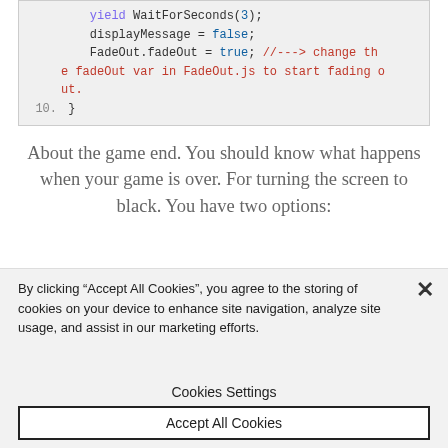yield WaitForSeconds(3);
displayMessage = false;
FadeOut.fadeOut = true; //---> change the fadeOut var in FadeOut.js to start fading out.
10. }
About the game end. You should know what happens when your game is over. For turning the screen to black. You have two options:
By clicking "Accept All Cookies", you agree to the storing of cookies on your device to enhance site navigation, analyze site usage, and assist in our marketing efforts.
Cookies Settings
Accept All Cookies